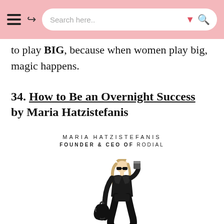Search here..
to play BIG, because when women play big, magic happens.
34. How to Be an Overnight Success by Maria Hatzistefanis
[Figure (illustration): Book cover illustration for 'How to Be an Overnight Success' by Maria Hatzistefanis, Founder & CEO of Rodial. Shows a stylized fashion illustration of a woman in all-black outfit with sunglasses, carrying a handbag and holding a coffee cup, walking confidently.]